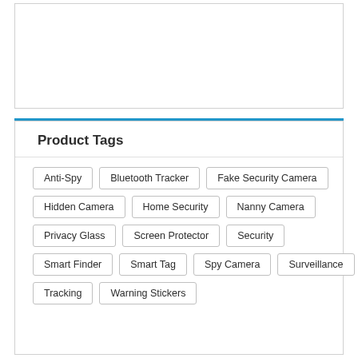[Figure (other): Empty white box with border at top of page]
Product Tags
Anti-Spy
Bluetooth Tracker
Fake Security Camera
Hidden Camera
Home Security
Nanny Camera
Privacy Glass
Screen Protector
Security
Smart Finder
Smart Tag
Spy Camera
Surveillance
Tracking
Warning Stickers